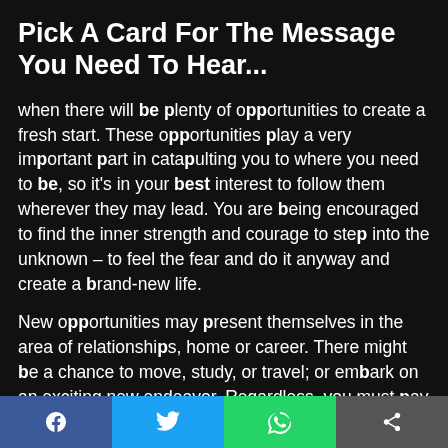Pick A Card For The Message You Need To Hear...
when there will be plenty of opportunities to create a fresh start. These opportunities play a very important part in catapulting you to where you need to be, so it's in your best interest to follow them wherever they may lead. You are being encouraged to find the inner strength and courage to step into the unknown – to feel the fear and do it anyway and create a brand-new life.
New opportunities may present themselves in the area of relationships, home or career. There might be a chance to move, study, or travel; or embark on an exciting new endeavor. Regardless, you must pay attention to the signs and seize the moment when it arises. When you're open to new beginnings, th
[Figure (infographic): Social share bar with Facebook, Twitter, WhatsApp, and share icons]